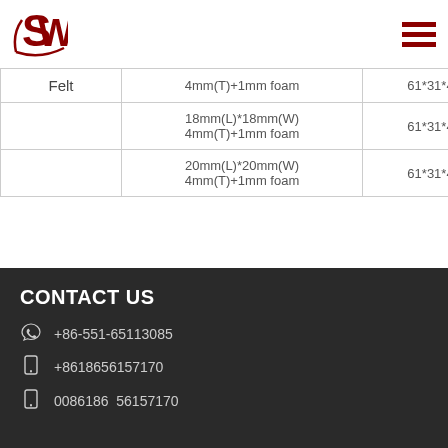SW logo and navigation
| Material | Specifications | Carton Size |
| --- | --- | --- |
| Felt | 4mm(T)+1mm foam | 61*31*4... |
|  | 18mm(L)*18mm(W)
4mm(T)+1mm foam | 61*31*4... |
|  | 20mm(L)*20mm(W)
4mm(T)+1mm foam | 61*31*4... |
CONTACT US
+86-551-65113085
+8618656157170
0086186561571​70